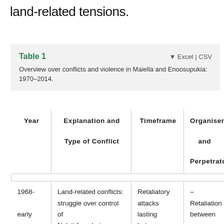land-related tensions.
Table 1
Overview over conflicts and violence in Maiella and Enoosupukia: 1970–2014.
| Year | Explanation and Type of Conflict | Timeframe | Organisers and Perpetrators |
| --- | --- | --- | --- |
| 1968-
early
1970s | Land-related conflicts: struggle over control of Ng'ati farm between Kikuyu Ng'ati farmers and Keekonyokie | Retaliatory attacks lasting between a few hours to | – Retaliation between morans and Kikuyu men; damages |